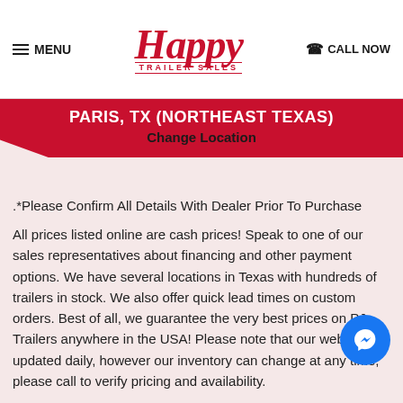MENU | Happy Trailer Sales | CALL NOW
[Figure (other): Location banner: PARIS, TX (NORTHEAST TEXAS) - Change Location]
*Please Confirm All Details With Dealer Prior To Purchase
All prices listed online are cash prices! Speak to one of our sales representatives about financing and other payment options. We have several locations in Texas with hundreds of trailers in stock. We also offer quick lead times on custom orders. Best of all, we guarantee the very best prices on PJ Trailers anywhere in the USA! Please note that our website is updated daily, however our inventory can change at any time, please call to verify pricing and availability.
http://www.happytrailersales.com/
Our expert sales team would be happy to explain the benefits